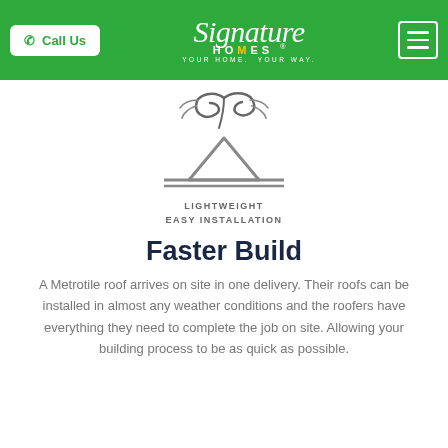Call Us | Signature Homes — YOUR HOME. YOUR WAY.
[Figure (illustration): Icon of a rooftop/house outline with wind/feather motif above it, representing lightweight easy installation]
LIGHTWEIGHT
EASY INSTALLATION
Faster Build
A Metrotile roof arrives on site in one delivery. Their roofs can be installed in almost any weather conditions and the roofers have everything they need to complete the job on site. Allowing your building process to be as quick as possible.